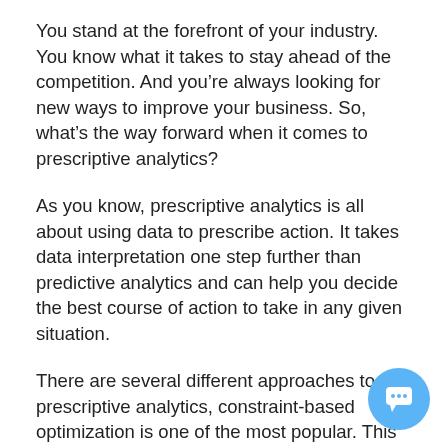You stand at the forefront of your industry. You know what it takes to stay ahead of the competition. And you're always looking for new ways to improve your business. So, what's the way forward when it comes to prescriptive analytics?
As you know, prescriptive analytics is all about using data to prescribe action. It takes data interpretation one step further than predictive analytics and can help you decide the best course of action to take in any given situation.
There are several different approaches to prescriptive analytics, constraint-based optimization is one of the most popular. This approach uses mathematical optimization techniques to identify the best course of action based on a set of constraints (such as budget, resources, and time).
[Figure (other): Chat button widget — a round blue circle with a white chat bubble icon in the bottom-right corner of the page.]